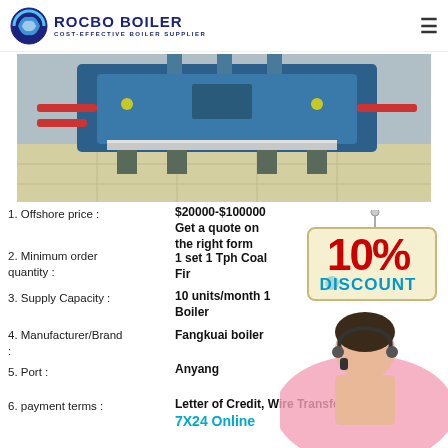ROCBO BOILER COST-EFFECTIVE BOILER SUPPLIER
[Figure (photo): Industrial boiler room with pipes and equipment]
[Figure (infographic): 10% DISCOUNT badge with customer service agent photo]
1. Offshore price : $20000-$100000 Get a quote on the right form
2. Minimum order quantity : 1 set ­1 Tph Coal Fired Boiler
3. Supply Capacity : 10 units/month ­1 Tph Coal Fired Boiler
4. Manufacturer/Brand : Fangkuai boiler
5. Port : Anyang
6. payment terms : Letter of Credit, Wire Transfer, 7X24 Online